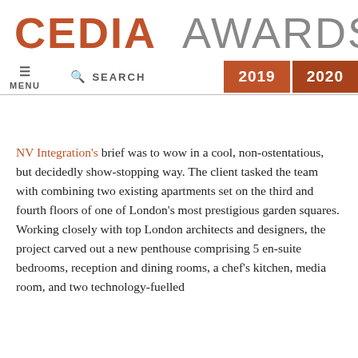CEDIA AWARDS
MENU  SEARCH  2019  2020
NV Integration's brief was to wow in a cool, non-ostentatious, but decidedly show-stopping way. The client tasked the team with combining two existing apartments set on the third and fourth floors of one of London's most prestigious garden squares. Working closely with top London architects and designers, the project carved out a new penthouse comprising 5 en-suite bedrooms, reception and dining rooms, a chef's kitchen, media room, and two technology-fuelled